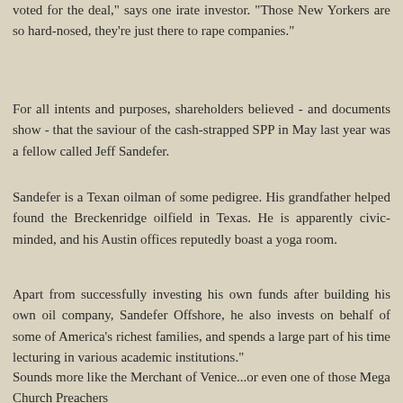voted for the deal," says one irate investor. "Those New Yorkers are so hard-nosed, they're just there to rape companies."
For all intents and purposes, shareholders believed - and documents show - that the saviour of the cash-strapped SPP in May last year was a fellow called Jeff Sandefer.
Sandefer is a Texan oilman of some pedigree. His grandfather helped found the Breckenridge oilfield in Texas. He is apparently civic-minded, and his Austin offices reputedly boast a yoga room.
Apart from successfully investing his own funds after building his own oil company, Sandefer Offshore, he also invests on behalf of some of America's richest families, and spends a large part of his time lecturing in various academic institutions."
Sounds more like the Merchant of Venice...or even one of those Mega Church Preachers